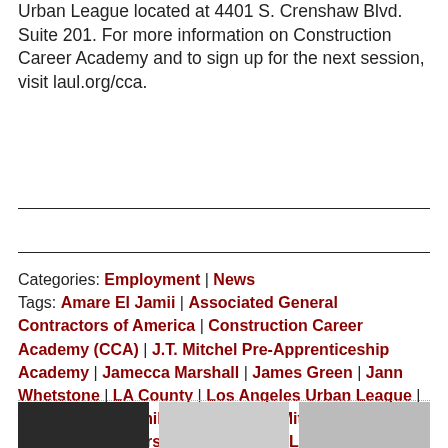Urban League located at 4401 S. Crenshaw Blvd. Suite 201. For more information on Construction Career Academy and to sign up for the next session, visit laul.org/cca.
Categories: Employment | News
Tags: Amare El Jamii | Associated General Contractors of America | Construction Career Academy (CCA) | J.T. Mitchel Pre-Apprenticeship Academy | Jamecca Marshall | James Green | Jann Whetstone | LA County | Los Angeles Urban League | Marion Bryant | millennials | Niryn Mitchel | Southern California Partnership for Jobs | UCLA
[Figure (photo): Three small thumbnail photos at the bottom of the page]